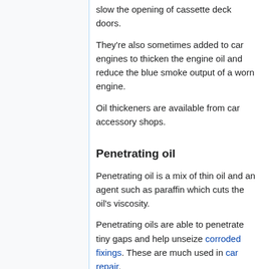slow the opening of cassette deck doors.
They're also sometimes added to car engines to thicken the engine oil and reduce the blue smoke output of a worn engine.
Oil thickeners are available from car accessory shops.
Penetrating oil
Penetrating oil is a mix of thin oil and an agent such as paraffin which cuts the oil's viscosity.
Penetrating oils are able to penetrate tiny gaps and help unseize corroded fixings. These are much used in car repair.
If no penetrating oil is to hand, a mix of